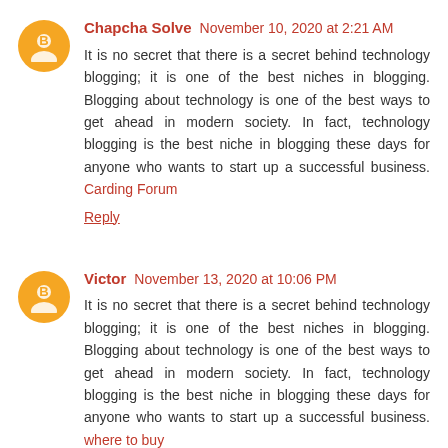Chapcha Solve  November 10, 2020 at 2:21 AM
It is no secret that there is a secret behind technology blogging; it is one of the best niches in blogging. Blogging about technology is one of the best ways to get ahead in modern society. In fact, technology blogging is the best niche in blogging these days for anyone who wants to start up a successful business. Carding Forum
Reply
Victor  November 13, 2020 at 10:06 PM
It is no secret that there is a secret behind technology blogging; it is one of the best niches in blogging. Blogging about technology is one of the best ways to get ahead in modern society. In fact, technology blogging is the best niche in blogging these days for anyone who wants to start up a successful business. where to buy
Reply